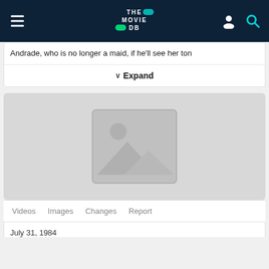THE MOVIE DB
Andrade, who is no longer a maid, if he'll see her ton
Expand
[Figure (photo): Image placeholder with a grey background and a generic image placeholder icon (mountain/landscape with circle)]
Videos   Images   Changes   Report
July 31, 1984